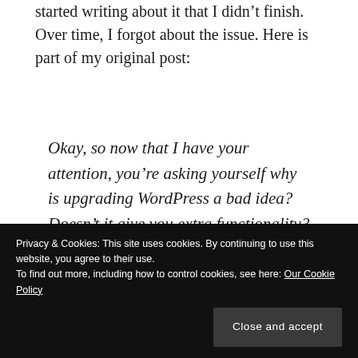started writing about it that I didn't finish. Over time, I forgot about the issue. Here is part of my original post:
Okay, so now that I have your attention, you're asking yourself why is upgrading WordPress a bad idea? Doesn't it give you extra functionality? Yes, it does — at a cost in basic features.
Advertisements
[Figure (other): Advertisement banner for Pocket Casts app: colorful pinwheel icon on left, text 'The go-to app for podcast lovers.' in center, Pocket Casts logo and name on right]
Privacy & Cookies: This site uses cookies. By continuing to use this website, you agree to their use.
To find out more, including how to control cookies, see here: Our Cookie Policy
account doesn't really count as your primary